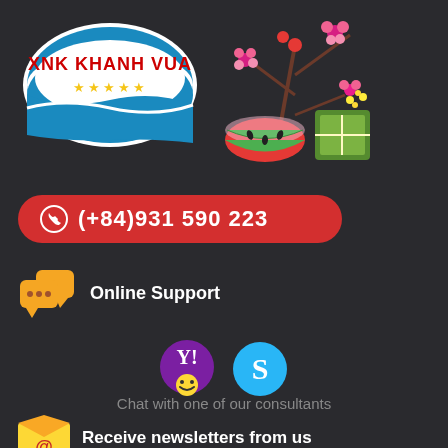[Figure (logo): XNK Khanh Vua oval logo with blue and red colors, stars underneath, and Vietnamese New Year decorative elements (flowers, watermelon, banh chung)]
(+84)931 590 223
Online Support
[Figure (illustration): Yahoo Messenger and Skype icons for online chat support]
Chat with one of our consultants
Receive newsletters from us